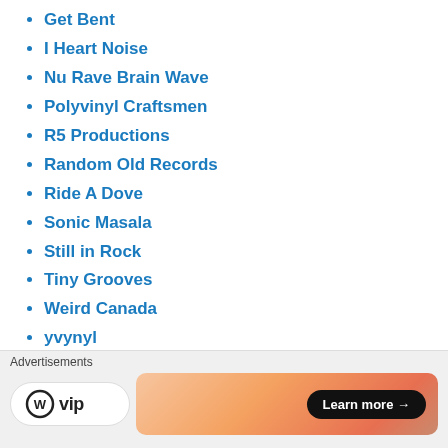Get Bent
I Heart Noise
Nu Rave Brain Wave
Polyvinyl Craftsmen
R5 Productions
Random Old Records
Ride A Dove
Sonic Masala
Still in Rock
Tiny Grooves
Weird Canada
yvynyl
RECORD LABELS
Art Fag Recordings
Bathetic Records
Burger Records
Captured Tracks